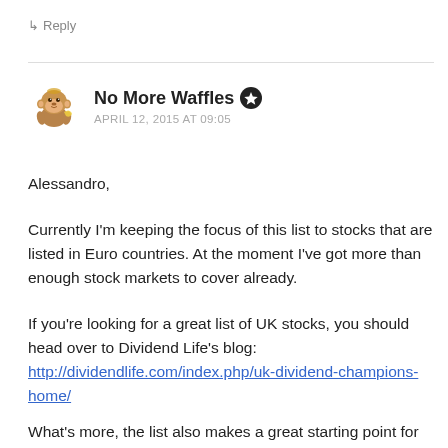↳ Reply
No More Waffles ★
APRIL 12, 2015 AT 09:05
Alessandro,
Currently I'm keeping the focus of this list to stocks that are listed in Euro countries. At the moment I've got more than enough stock markets to cover already.
If you're looking for a great list of UK stocks, you should head over to Dividend Life's blog: http://dividendlife.com/index.php/uk-dividend-champions-home/
What's more, the list also makes a great starting point for me to